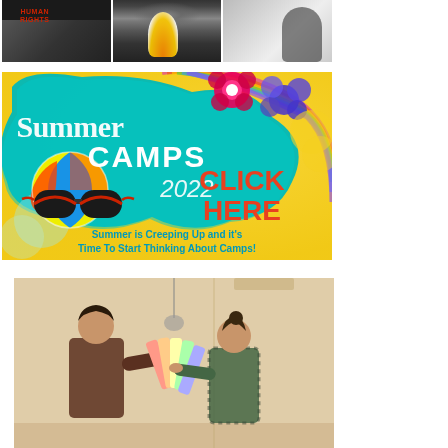[Figure (photo): Three photo strip collage: left photo shows a fist with 'HUMAN RIGHTS' written on it in red on dark background; center photo shows an explosion or fire with smoke and flame; right photo shows a blurred silhouette of a person against a light background]
[Figure (illustration): Summer Camps 2022 advertisement banner with bright yellow background, teal/turquoise splash shape containing 'Summer CAMPS 2022' text, colorful flowers, beach ball, red sunglasses, rainbow swirl, and text 'CLICK HERE' in orange-red and 'Summer is Creeping Up and it's Time To Start Thinking About Camps!' in teal bold text]
[Figure (photo): A man and woman indoors holding up paint color swatches/fan decks, appearing to be choosing paint colors for decorating, against a plain wall background]